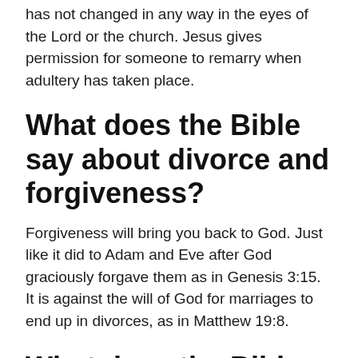has not changed in any way in the eyes of the Lord or the church. Jesus gives permission for someone to remarry when adultery has taken place.
What does the Bible say about divorce and forgiveness?
Forgiveness will bring you back to God. Just like it did to Adam and Eve after God graciously forgave them as in Genesis 3:15. It is against the will of God for marriages to end up in divorces, as in Matthew 19:8.
What does the Bible say on divorce?